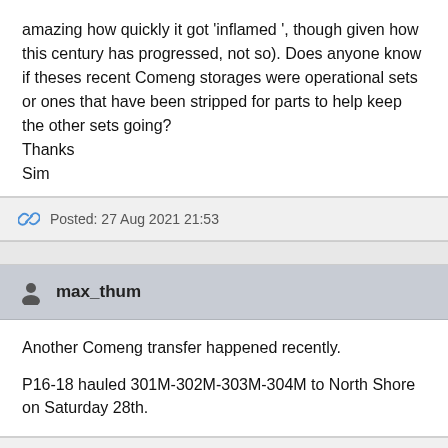amazing how quickly it got ‘inflamed’, though given how this century has progressed, not so). Does anyone know if theses recent Comeng storages were operational sets or ones that have been stripped for parts to help keep the other sets going?
Thanks
Sim
Posted: 27 Aug 2021 21:53
max_thum
Another Comeng transfer happened recently.
P16-18 hauled 301M-302M-303M-304M to North Shore on Saturday 28th.